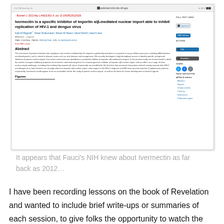[Figure (screenshot): Screenshot of a PubMed article page for 'Ivermectin is a specific inhibitor of importin α/β-mediated nuclear import able to inhibit replication of HIV-1 and dengue virus' (Biochem J, 2012). Shows title, authors, abstract, figures section, and sidebar navigation with Full Text Links, Cite, Favorites, social share icons, and page navigation links.]
It appears that Fauci's NIH knew about Ivermectin as far back as 2012…
I have been recording lessons on the book of Revelation and wanted to include brief write-ups or summaries of each session, to give folks the opportunity to watch the video or simply read through the synopsis here. I'll include links to the PDF notes used for download.